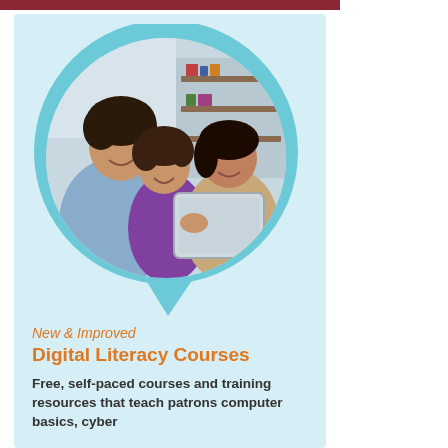[Figure (photo): A family of three — a man, a young girl, and a woman — smiling and looking at a tablet together, displayed inside a circular frame with a teal speech-bubble shape behind it, all on a light blue background card.]
New & Improved
Digital Literacy Courses
Free, self-paced courses and training resources that teach patrons computer basics, cyber